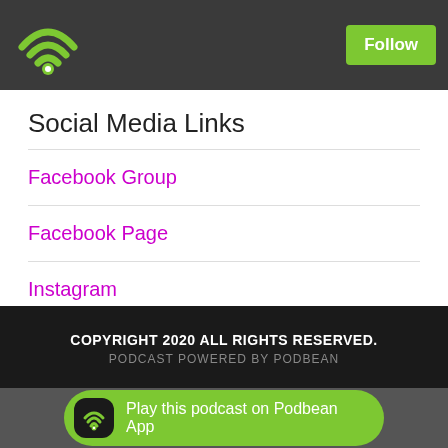[Figure (logo): Green WiFi/podcast icon in dark header bar with Follow button]
Social Media Links
Facebook Group
Facebook Page
Instagram
Twitter
COPYRIGHT 2020 ALL RIGHTS RESERVED. PODCAST POWERED BY PODBEAN
Play this podcast on Podbean App